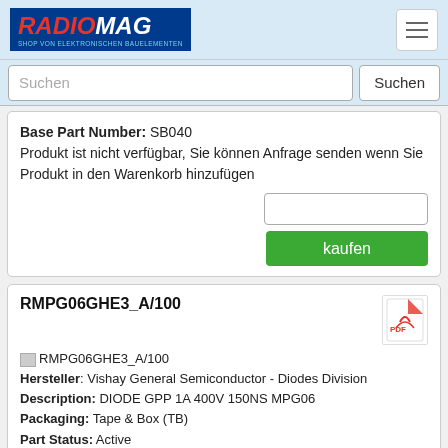[Figure (logo): RADIOMAG logo - shop von elektronischen Bauelementen]
Suchen [search input] Suchen [button]
Base Part Number: SB040
Produkt ist nicht verfügbar, Sie können Anfrage senden wenn Sie Produkt in den Warenkorb hinzufügen
kaufen
RMPG06GHE3_A/100
Hersteller: Vishay General Semiconductor - Diodes Division
Description: DIODE GPP 1A 400V 150NS MPG06
Packaging: Tape & Box (TB)
Part Status: Active
Diode Type: Standard
Voltage - DC Reverse (Vr) (Max): 400V
Current - Average Rectified (Io): 1A
Voltage - Forward (Vf) (Max) @ If: 1.3V @ 1A
Speed: Fast Recovery =< 500ns, > 200mA (Io)
Reverse Recovery Time (trr): 150ns